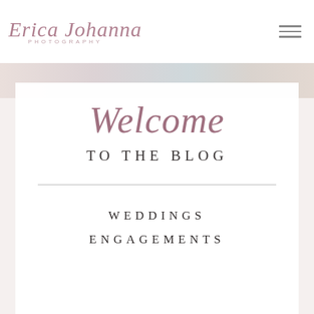[Figure (logo): Erica Johanna Photography script logo in mauve/rose color with 'PHOTOGRAPHY' in small caps underneath]
[Figure (illustration): Hamburger menu icon with three horizontal lines in gray]
[Figure (photo): Faded floral/wedding photo strip at top of page]
Welcome
TO THE BLOG
WEDDINGS
ENGAGEMENTS